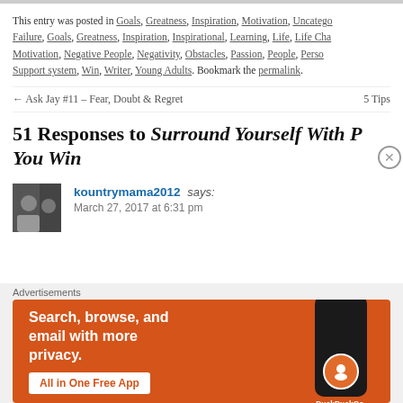This entry was posted in Goals, Greatness, Inspiration, Motivation, Uncatego... Failure, Goals, Greatness, Inspiration, Inspirational, Learning, Life, Life Cha... Motivation, Negative People, Negativity, Obstacles, Passion, People, Perso... Support system, Win, Writer, Young Adults. Bookmark the permalink.
← Ask Jay #11 – Fear, Doubt & Regret    5 Tips
51 Responses to Surround Yourself With Po... You Win
kountrymama2012 says: March 27, 2017 at 6:31 pm
[Figure (photo): DuckDuckGo advertisement banner: orange background with text 'Search, browse, and email with more privacy. All in One Free App' and an image of a smartphone with DuckDuckGo logo]
Advertisements